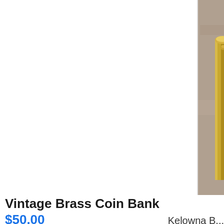[Figure (photo): A vintage brass coin bank shaped like a cylindrical cup with a coin-embossed lid featuring a profile portrait surrounded by laurel wreath design, photographed on a grey stone surface.]
Vintage Brass Coin Bank
$50.00
Kelowna B...